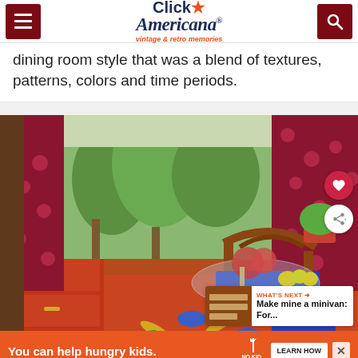Click Americana - vintage & retro memories
dining room style that was a blend of textures, patterns, colors and time periods.
[Figure (photo): Vintage dining room interior with red floral patterned curtains, red painted floor with blue floral design, antique wooden chair with blue cushion, red painted dresser, glass table, flowers and fruit arrangement, and lush garden view through window. Social share buttons (heart and share icons) visible on right side. 'What's Next' thumbnail box showing 'Make mine a minivan: For...' article.]
You can help hungry kids.
NO KID HUNGRY
LEARN HOW